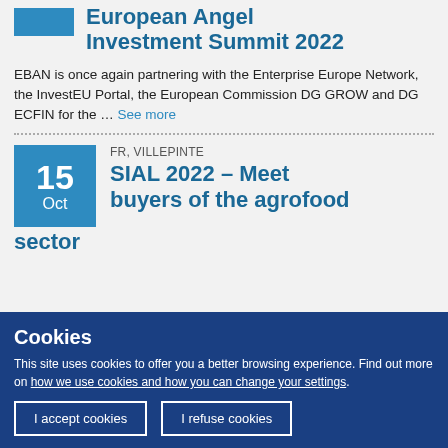[Figure (other): Blue rectangle placeholder for event date/image for European Angel Investment Summit 2022]
European Angel Investment Summit 2022
EBAN is once again partnering with the Enterprise Europe Network, the InvestEU Portal, the European Commission DG GROW and DG ECFIN for the … See more
[Figure (other): Blue date box showing 15 Oct]
FR, VILLEPINTE
SIAL 2022 – Meet buyers of the agrofood sector
Cookies
This site uses cookies to offer you a better browsing experience. Find out more on how we use cookies and how you can change your settings.